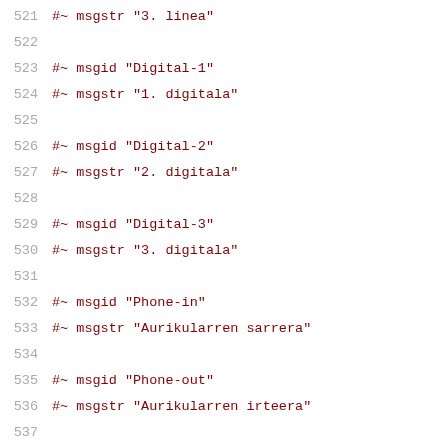521  #~ msgstr "3. linea"
522
523  #~ msgid "Digital-1"
524  #~ msgstr "1. digitala"
525
526  #~ msgid "Digital-2"
527  #~ msgstr "2. digitala"
528
529  #~ msgid "Digital-3"
530  #~ msgstr "3. digitala"
531
532  #~ msgid "Phone-in"
533  #~ msgstr "Aurikularren sarrera"
534
535  #~ msgid "Phone-out"
536  #~ msgstr "Aurikularren irteera"
537
538  #~ msgid "Video"
539  #~ msgstr "Bideoa"
540
541  #~ msgid "Radio"